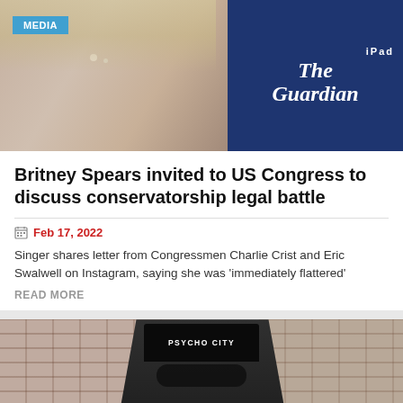[Figure (photo): Top image showing Britney Spears with jewelry/necklace on left side, and The Guardian iPad app logo on dark blue background on right side, with a MEDIA badge overlay]
Britney Spears invited to US Congress to discuss conservatorship legal battle
Feb 17, 2022
Singer shares letter from Congressmen Charlie Crist and Eric Swalwell on Instagram, saying she was ‘immediately flattered’
READ MORE
[Figure (photo): Man wearing a black cap that says PSYCHO CITY and dark sunglasses, standing in front of a brick wall background]